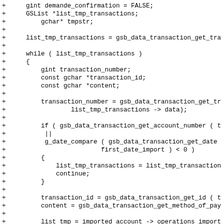Code diff showing C source code with variable declarations and a while loop iterating over list_tmp_transactions, including transaction number extraction, account number and date comparison conditions, and transaction id/content retrieval.